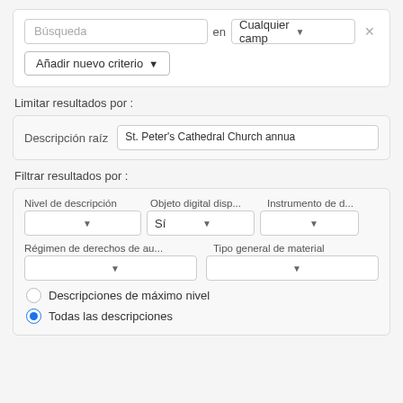[Figure (screenshot): Search interface panel with a text input labeled 'Búsqueda', an 'en' label, a dropdown 'Cualquier camp' and an X button, plus an 'Añadir nuevo criterio' dropdown button.]
Limitar resultados por :
[Figure (screenshot): Panel with label 'Descripción raíz' and a text input showing 'St. Peter's Cathedral Church annua']
Filtrar resultados por :
[Figure (screenshot): Filter panel with dropdowns for 'Nivel de descripción', 'Objeto digital disp...' (showing 'Sí'), 'Instrumento de d...', 'Régimen de derechos de au...', 'Tipo general de material', and two radio buttons: 'Descripciones de máximo nivel' (unselected) and 'Todas las descripciones' (selected).]